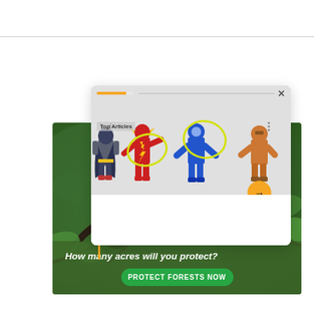[Figure (screenshot): Screenshot of a browser popup showing DC superhero action figures (Batman, The Flash, Blue Beetle/Captain Atom, and an orange figure) arranged in a row, with a 'Top Articles' label, three-dot menu, an orange arrow navigation button, and a progress bar at top. Overlapping with a nature/monkey forest banner below.]
[Figure (photo): Nature banner showing a monkey (black-and-gold) in a green forest setting with overlay text 'How many acres will you protect?' and a green 'PROTECT FORESTS NOW' call-to-action button.]
How many acres will you protect?
PROTECT FORESTS NOW